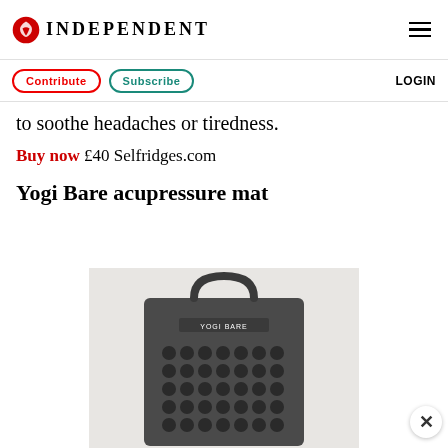INDEPENDENT
Contribute   Subscribe   LOGIN
to soothe headaches or tiredness.
Buy now £40 Selfridges.com
Yogi Bare acupressure mat
[Figure (photo): Yogi Bare acupressure mat shown upright, dark grey mat with black acupressure spikes in a grid pattern, with a carry handle at the top and YOGI BARE branding on the mat]